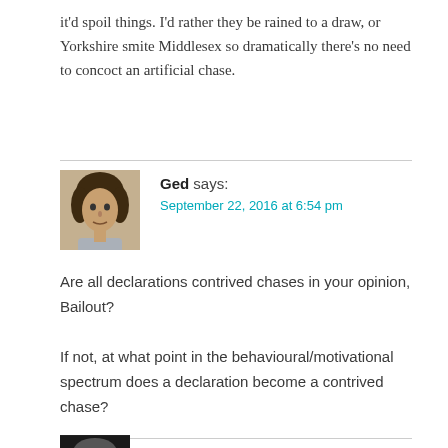it'd spoil things. I'd rather they be rained to a draw, or Yorkshire smite Middlesex so dramatically there's no need to concoct an artificial chase.
[Figure (photo): Avatar photo of commenter Ged — person with dark curly hair]
Ged says:
September 22, 2016 at 6:54 pm
Are all declarations contrived chases in your opinion, Bailout?
If not, at what point in the behavioural/motivational spectrum does a declaration become a contrived chase?
[Figure (photo): Partial avatar photo of next commenter at bottom of page]